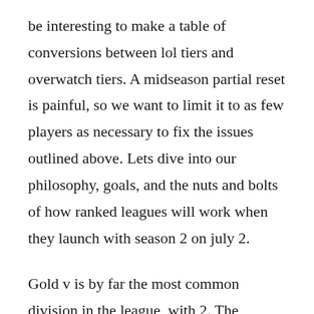be interesting to make a table of conversions between lol tiers and overwatch tiers. A midseason partial reset is painful, so we want to limit it to as few players as necessary to fix the issues outlined above. Lets dive into our philosophy, goals, and the nuts and bolts of how ranked leagues will work when they launch with season 2 on july 2.
Gold v is by far the most common division in the league, with 2. The legends of runeterra ranked system works in a very similar manner to league of legends. Were not seeing these